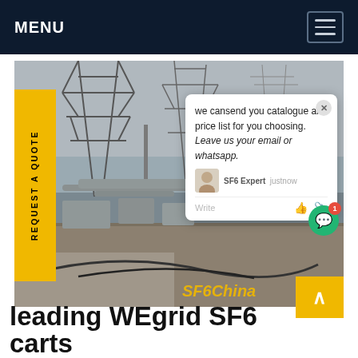MENU
[Figure (photo): Outdoor electrical substation with high-voltage transmission towers and equipment, overcast sky, gravel ground. A chat popup overlay is visible. SF6China watermark in orange-yellow in bottom right corner.]
REQUEST A QUOTE
we cansend you catalogue and price list for you choosing. Leave us your email or whatsapp.
SF6 Expert   justnow
Write
leading WEgrid SF6 carts